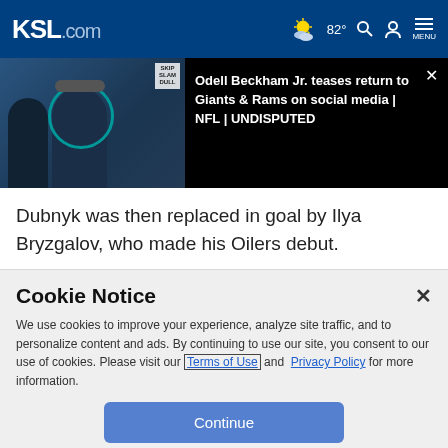KSL.com — 82° weather, search, account, menu
[Figure (screenshot): Video thumbnail showing NFL players in blue uniforms with a teal circle overlay, next to text about Odell Beckham Jr. on black background with close button]
Odell Beckham Jr. teases return to Giants & Rams on social media | NFL | UNDISPUTED
Dubnyk was then replaced in goal by Ilya Bryzgalov, who made his Oilers debut.
Cookie Notice
We use cookies to improve your experience, analyze site traffic, and to personalize content and ads. By continuing to use our site, you consent to our use of cookies. Please visit our Terms of Use and Privacy Policy for more information.
Continue